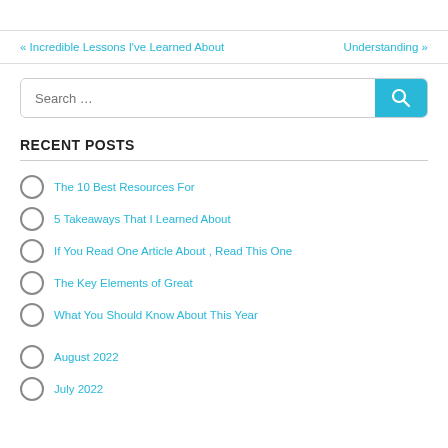« Incredible Lessons I've Learned About    Understanding »
RECENT POSTS
The 10 Best Resources For
5 Takeaways That I Learned About
If You Read One Article About , Read This One
The Key Elements of Great
What You Should Know About This Year
August 2022
July 2022